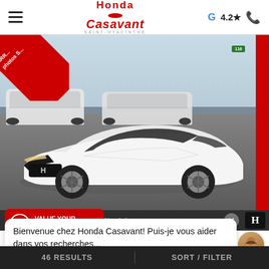Honda Casavant | Saint-Hyacinthe | G 4.2★
[Figure (photo): White Honda Civic sedan parked in a dealership lot, front three-quarter view. Red diagonal badge in top-left corner reads 'ARRIVAGE photos'. Red stripe on right edge. Dark asphalt lot with other cars and sky visible in background.]
150 Rue Daniel - Johnson E, Saint-Hyacinthe
VALUE YOUR TRADE!
Bienvenue chez Honda Casavant! Puis-je vous aider dans vos recherches...
46 RESULTS   SORT / FILTER